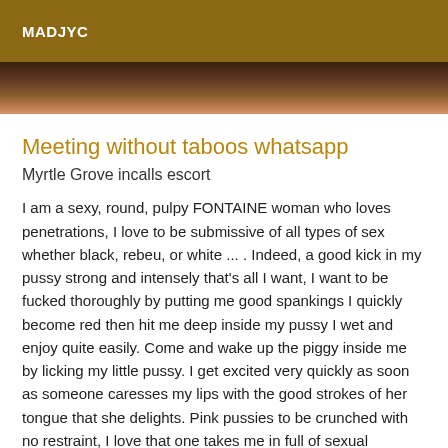MADJYC
[Figure (photo): Partial photo of a person, cropped, visible at top of page below header]
Meeting without taboos whatsapp
Myrtle Grove incalls escort
I am a sexy, round, pulpy FONTAINE woman who loves penetrations, I love to be submissive of all types of sex whether black, rebeu, or white ... . Indeed, a good kick in my pussy strong and intensely that's all I want, I want to be fucked thoroughly by putting me good spankings I quickly become red then hit me deep inside my pussy I wet and enjoy quite easily. Come and wake up the piggy inside me by licking my little pussy. I get excited very quickly as soon as someone caresses my lips with the good strokes of her tongue that she delights. Pink pussies to be crunched with no restraint, I love that one takes me in full of sexual positions especially to make me enjoy the ass. That one makes me shout very strong. You can always look for your happiness...